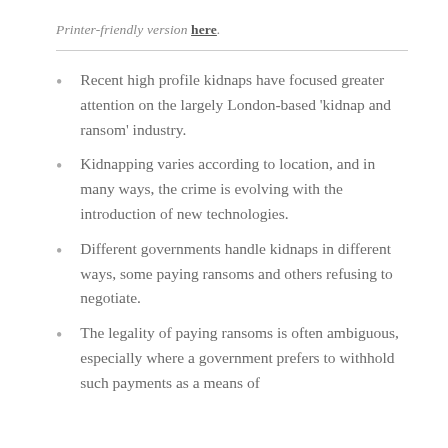Printer-friendly version here.
Recent high profile kidnaps have focused greater attention on the largely London-based ‘kidnap and ransom’ industry.
Kidnapping varies according to location, and in many ways, the crime is evolving with the introduction of new technologies.
Different governments handle kidnaps in different ways, some paying ransoms and others refusing to negotiate.
The legality of paying ransoms is often ambiguous, especially where a government prefers to withhold such payments as a means of